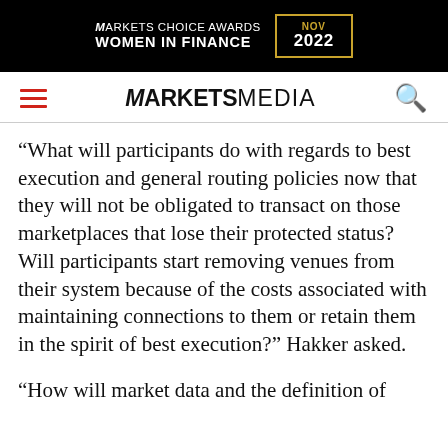[Figure (logo): Markets Choice Awards Women in Finance NOV 2022 advertisement banner on black background with gold border date box]
MARKETS MEDIA (navigation bar with hamburger menu and search icon)
“What will participants do with regards to best execution and general routing policies now that they will not be obligated to transact on those marketplaces that lose their protected status? Will participants start removing venues from their system because of the costs associated with maintaining connections to them or retain them in the spirit of best execution?” Hakker asked.
“How will market data and the definition of